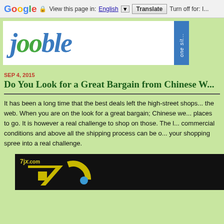Google  View this page in: English [▼]  Translate  Turn off for: I...
[Figure (logo): Jooble logo banner - blue and green italic text reading 'jooble' with 'one sit...' text on right side in blue vertical bar]
SEP 4, 2015
Do You Look for a Great Bargain from Chinese W...
It has been a long time that the best deals left the high-street shops... the web. When you are on the look for a great bargain; Chinese we... places to go. It is however a real challenge to shop on those. The l... commercial conditions and above all the shipping process can be o... your shopping spree into a real challenge.
[Figure (screenshot): Video thumbnail with dark background showing 7JX.com logo/watermark and yellow graphic elements]